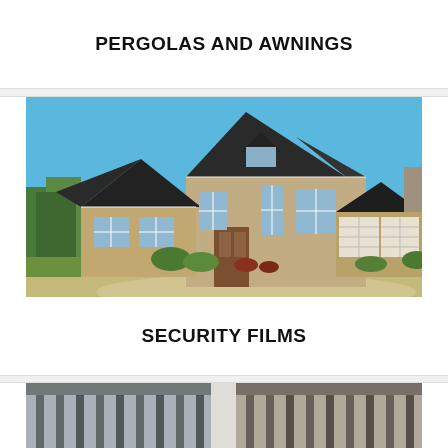PERGOLAS AND AWNINGS
[Figure (photo): Exterior photo of a large stone and brick residential house with multiple gabled roofs, white garage doors, and a curved driveway, set against a blue sky with green trees in the background.]
SECURITY FILMS
[Figure (photo): Partial photo showing what appears to be awning or pergola structures, visible as a cropped image at the bottom of the page.]